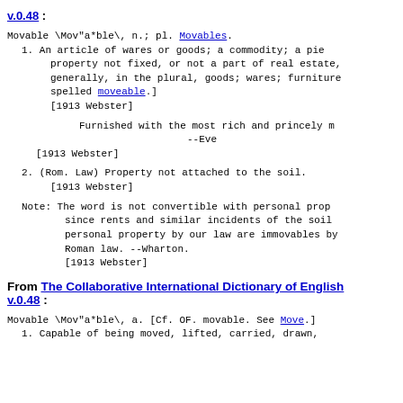v.0.48 :
Movable \Mov"a*ble\, n.; pl. Movables.
1. An article of wares or goods; a commodity; a piece of property not fixed, or not a part of real estate, generally, in the plural, goods; wares; furniture; also spelled moveable.]
[1913 Webster]
Furnished with the most rich and princely m
--Eve
[1913 Webster]
2. (Rom. Law) Property not attached to the soil.
[1913 Webster]
Note: The word is not convertible with personal prop since rents and similar incidents of the soil personal property by our law are immovables by Roman law. --Wharton.
[1913 Webster]
From The Collaborative International Dictionary of English v.0.48 :
Movable \Mov"a*ble\, a. [Cf. OF. movable. See Move.]
1. Capable of being moved, lifted, carried, drawn,